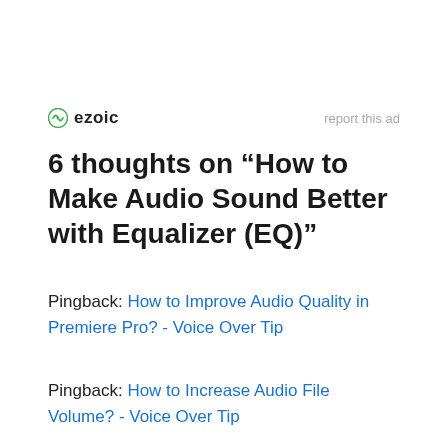[Figure (logo): Ezoic logo with green circular icon and bold 'ezoic' text, with 'report this ad' text on the right]
6 thoughts on “How to Make Audio Sound Better with Equalizer (EQ)”
Pingback: How to Improve Audio Quality in Premiere Pro? - Voice Over Tip
Pingback: How to Increase Audio File Volume? - Voice Over Tip
Pingback: [partially visible/blurred text]